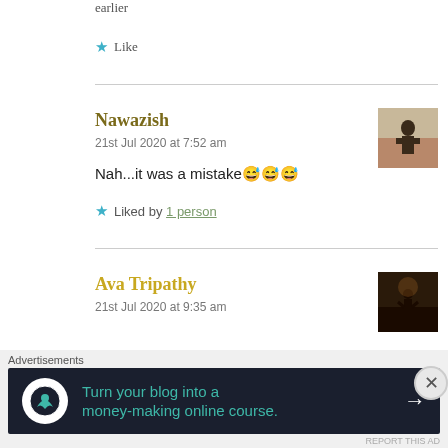earlier
★ Like
Nawazish
21st Jul 2020 at 7:52 am
[Figure (photo): Avatar photo of Nawazish, person standing on beach]
Nah...it was a mistake 😅😅😅
★ Liked by 1 person
Ava Tripathy
21st Jul 2020 at 9:35 am
[Figure (photo): Avatar photo of Ava Tripathy, silhouette at dusk]
Advertisements
Turn your blog into a money-making online course.